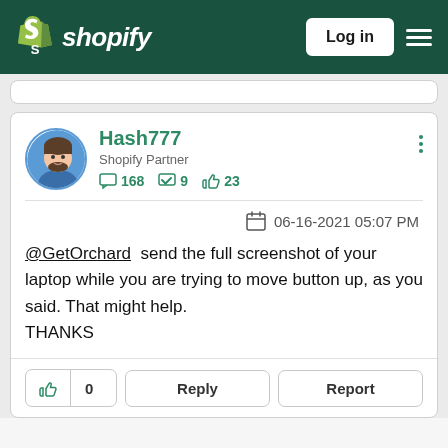Shopify — Log in
Hash777
Shopify Partner
168  9  23
06-16-2021 05:07 PM
@GetOrchard send the full screenshot of your laptop while you are trying to move button up, as you said. That might help.
THANKS